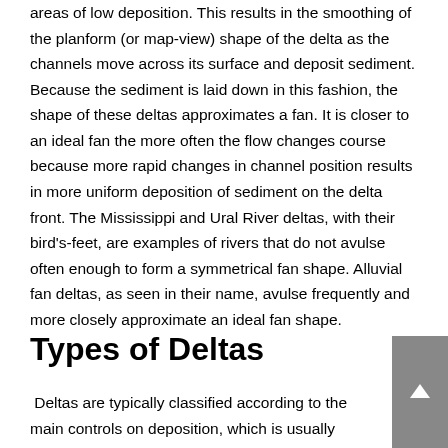areas of low deposition. This results in the smoothing of the planform (or map-view) shape of the delta as the channels move across its surface and deposit sediment. Because the sediment is laid down in this fashion, the shape of these deltas approximates a fan. It is closer to an ideal fan the more often the flow changes course because more rapid changes in channel position results in more uniform deposition of sediment on the delta front. The Mississippi and Ural River deltas, with their bird's-feet, are examples of rivers that do not avulse often enough to form a symmetrical fan shape. Alluvial fan deltas, as seen in their name, avulse frequently and more closely approximate an ideal fan shape.
Types of Deltas
Deltas are typically classified according to the main controls on deposition, which is usually either a river, waves, or tides.